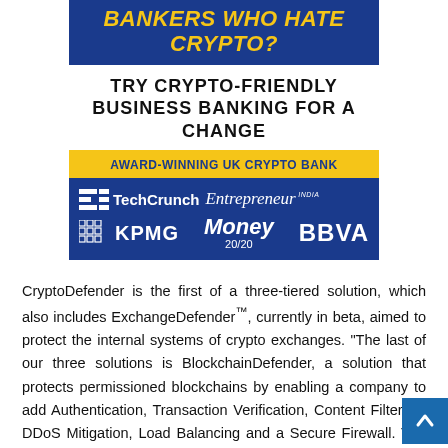[Figure (infographic): Advertisement for a crypto-friendly business banking service. Blue banner with yellow italic bold text reading 'BANKERS WHO HATE CRYPTO?'. Below in black bold uppercase: 'TRY CRYPTO-FRIENDLY BUSINESS BANKING FOR A CHANGE'. Yellow banner with blue text: 'AWARD-WINNING UK CRYPTO BANK'. Blue banner with white logos: TechCrunch, Entrepreneur INDIA, KPMG, Money 20/20, BBVA.]
CryptoDefender is the first of a three-tiered solution, which also includes ExchangeDefender™, currently in beta, aimed to protect the internal systems of crypto exchanges. “The last of our three solutions is BlockchainDefender, a solution that protects permissioned blockchains by enabling a company to add Authentication, Transaction Verification, Content Filtering, DDoS Mitigation, Load Balancing and a Secure Firewall. T is no other product on the marketplace that offers this level of